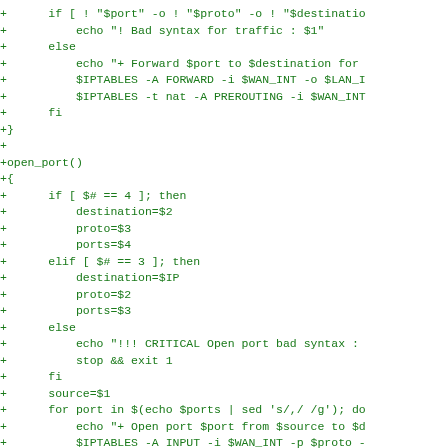[Figure (other): Diff/patch code snippet showing shell script functions for port forwarding and opening ports using iptables, displayed in green monospace font on white background.]